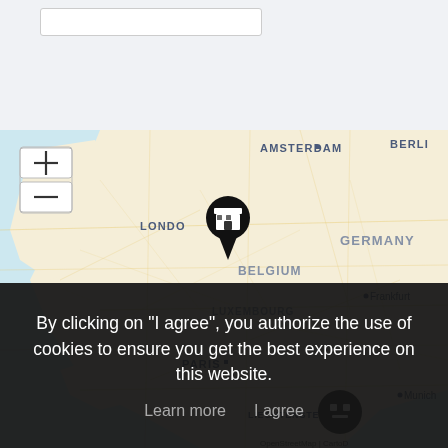[Figure (map): Interactive map showing Western Europe with city labels: AMSTERDAM, BERLIN, LONDON, GERMANY, BELGIUM, LUXEMBOURG, Frankfurt, PARIS, Munich, LIECHTENSTEIN. A black map pin with a shop/store icon is located near London/Belgium border. Zoom controls (+/-) are visible top-left of map. A cookie consent robot icon appears at bottom-center of map.]
By clicking on "I agree", you authorize the use of cookies to ensure you get the best experience on this website.
Learn more   I agree